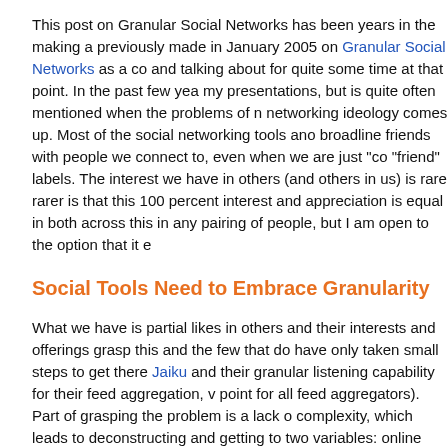This post on Granular Social Networks has been years in the making a previously made in January 2005 on Granular Social Networks as a co and talking about for quite some time at that point. In the past few yea my presentations, but is quite often mentioned when the problems of n networking ideology comes up. Most of the social networking tools ano broadline friends with people we connect to, even when we are just "co "friend" labels. The interest we have in others (and others in us) is rare rarer is that this 100 percent interest and appreciation is equal in both across this in any pairing of people, but I am open to the option that it e
Social Tools Need to Embrace Granularity
What we have is partial likes in others and their interests and offerings grasp this and the few that do have only taken small steps to get there Jaiku and their granular listening capability for their feed aggregation, v point for all feed aggregators). Part of grasping the problem is a lack o complexity, which leads to deconstructing and getting to two variables: online and their personas on various services) and 2) interests. These combinations can (hopefully) be seen in the quick annotated video of c using in presentations and workshops lately.
Showing Granular Social Network